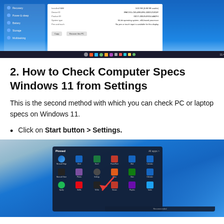[Figure (screenshot): Windows 11 System Information dialog showing device ID, product ID, system type fields, with Copy and Recover this PC buttons. Windows taskbar visible at bottom.]
2. How to Check Computer Specs Windows 11 from Settings
This is the second method with which you can check PC or laptop specs on Windows 11.
Click on Start button > Settings.
[Figure (screenshot): Windows 11 Start Menu open showing pinned apps including Microsoft Edge, Word, Excel, PowerPoint, Mail, Calendar, Microsoft Store, Photos, Settings, Office, Xbox, Defender, Spotify, Netflix, TikTok, Stream, Playlists, Twitter. A red arrow points to the Settings icon.]